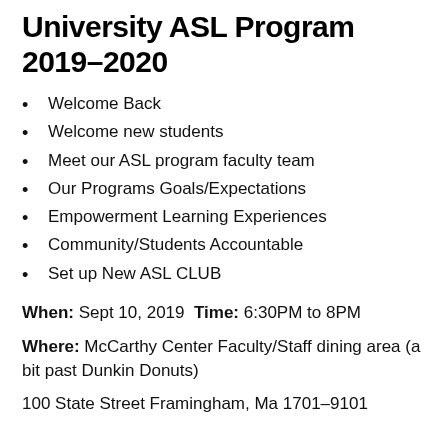University ASL Program 2019–2020
Welcome Back
Welcome new students
Meet our ASL program faculty team
Our Programs Goals/Expectations
Empowerment Learning Experiences
Community/Students Accountable
Set up New ASL CLUB
When: Sept 10, 2019 Time: 6:30PM to 8PM
Where: McCarthy Center Faculty/Staff dining area (a bit past Dunkin Donuts)
100 State Street Framingham, Ma 1701–9101